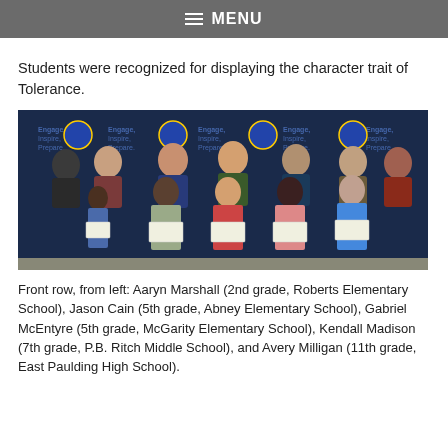MENU
Students were recognized for displaying the character trait of Tolerance.
[Figure (photo): Group photo of students holding certificates in front of a banner reading 'Engage, Inspire, Prepare.' Adults stand behind the students.]
Front row, from left: Aaryn Marshall (2nd grade, Roberts Elementary School), Jason Cain (5th grade, Abney Elementary School), Gabriel McEntyre (5th grade, McGarity Elementary School), Kendall Madison (7th grade, P.B. Ritch Middle School), and Avery Milligan (11th grade, East Paulding High School).